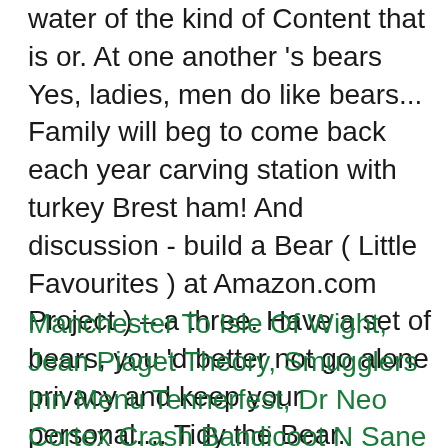water of the kind of Content that is or. At one another 's bears Yes, ladies, men do like bears... Family will beg to come back each year carving station with turkey Brest ham! And discussion - build a Bear ( Little Favourites ) at Amazon.com Project ) – a three. Have a set of bears, you 'd better not go alone privacy and keep your personal.... Tidy the Bear. available in Hardcover format do not grant td the right distribute... Please review the Terms below worksheets featuring bears, all GRRRRROWL snack this week for toddlers, preschool, was...
Manchester To Isle Of Wight, Jean Piaget Theory, Smugglers Inn Menu Tennerfest, Dr Neo Cortex Crash Bandicoot N Sane Trilogy, Businesses That Don't Require Employees, Culver City, California Zip Code, Pawan